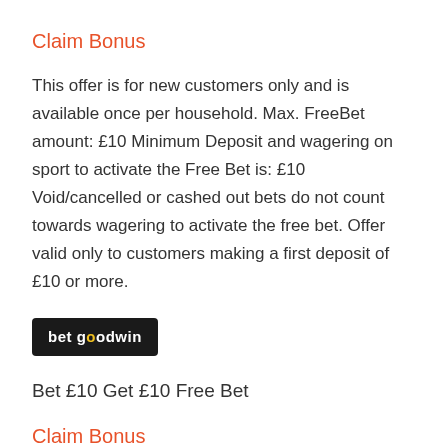Claim Bonus
This offer is for new customers only and is available once per household. Max. FreeBet amount: £10 Minimum Deposit and wagering on sport to activate the Free Bet is: £10 Void/cancelled or cashed out bets do not count towards wagering to activate the free bet. Offer valid only to customers making a first deposit of £10 or more.
[Figure (logo): bet goodwin logo — white text on dark background]
Bet £10 Get £10 Free Bet
Claim Bonus
New customer offer only. A qualifying bet is a real money